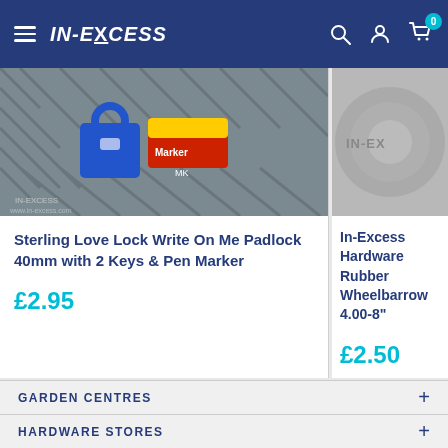IN-EXCESS
[Figure (photo): Sterling Love Lock Write On Me Padlock product image showing blue/colorful padlocks on chain link fence with pen marker]
Sterling Love Lock Write On Me Padlock 40mm with 2 Keys & Pen Marker
£2.95
[Figure (photo): In-Excess Hardware Rubber Wheelbarrow tyre product image showing close-up of grey rubber tyre]
In-Excess Hardware Rubber Wheelbarrow 4.00-8"
£2.50
GARDEN CENTRES
HARDWARE STORES